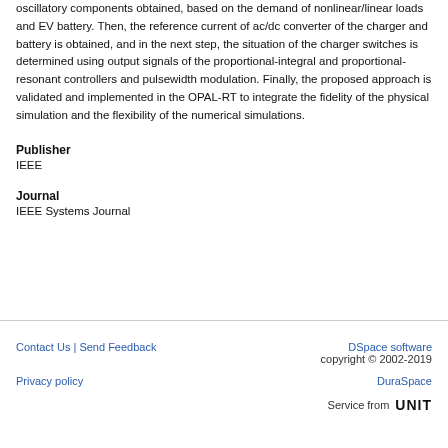oscillatory components obtained, based on the demand of nonlinear/linear loads and EV battery. Then, the reference current of ac/dc converter of the charger and battery is obtained, and in the next step, the situation of the charger switches is determined using output signals of the proportional-integral and proportional-resonant controllers and pulsewidth modulation. Finally, the proposed approach is validated and implemented in the OPAL-RT to integrate the fidelity of the physical simulation and the flexibility of the numerical simulations.
Publisher
IEEE
Journal
IEEE Systems Journal
Contact Us | Send Feedback   DSpace software copyright © 2002-2019 DuraSpace   Privacy policy   Service from UNIT